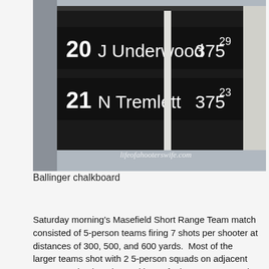[Figure (photo): Chalkboard scoreboard showing two rows: row 20 J Underwood 375 with superscript 29, row 21 N Tremlett 375 with superscript 23. Watermark reads lifeofahooterswife.com]
Ballinger chalkboard
Saturday morning’s Masefield Short Range Team match consisted of 5-person teams firing 7 shots per shooter at distances of 300, 500, and 600 yards.  Most of the larger teams shot with 2 5-person squads on adjacent targets to simulate the workings of a larger team match.  The US teams did this, fielding 2 squads each for both the vets and regular team.  This match is technically a “Club Match” and since the US national rifle team is the official team of the United States, we were not recognized as a club.  Since we were not a club, and it was a cub match, we had to shoot “out of competition”.  Don’t let the OOC status fool you though, the US Team put on a clinic in